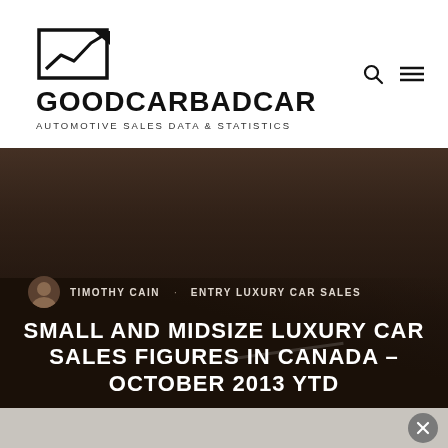[Figure (logo): GoodCarBadCar logo with upward trending chart icon, text GOODCARBADCAR and subtitle AUTOMOTIVE SALES DATA & STATISTICS]
SMALL AND MIDSIZE LUXURY CAR SALES FIGURES IN CANADA – OCTOBER 2013 YTD
TIMOTHY CAIN · ENTRY LUXURY CAR SALES